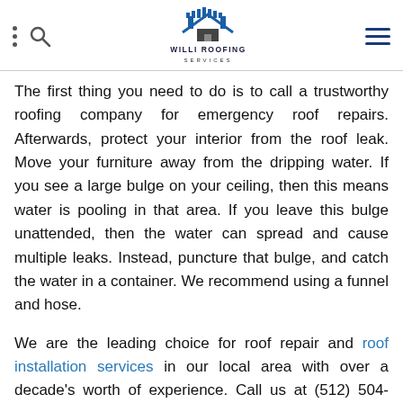Willi Roofing Services — navigation header with logo
The first thing you need to do is to call a trustworthy roofing company for emergency roof repairs. Afterwards, protect your interior from the roof leak. Move your furniture away from the dripping water. If you see a large bulge on your ceiling, then this means water is pooling in that area. If you leave this bulge unattended, then the water can spread and cause multiple leaks. Instead, puncture that bulge, and catch the water in a container. We recommend using a funnel and hose.
We are the leading choice for roof repair and roof installation services in our local area with over a decade's worth of experience. Call us at (512) 504-7900 to learn more about our services and products. We serve homeowners in Pflugerville, TX.